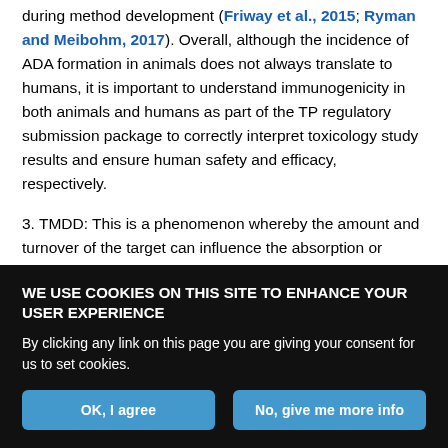during method development (Friway et al., 2015; Ryman and Meibohm, 2017). Overall, although the incidence of ADA formation in animals does not always translate to humans, it is important to understand immunogenicity in both animals and humans as part of the TP regulatory submission package to correctly interpret toxicology study results and ensure human safety and efficacy, respectively.
3. TMDD: This is a phenomenon whereby the amount and turnover of the target can influence the absorption or pharmacokinetic profile of the TP significantly. This occurs often with TPs because the kinetics of binding, and especially the disassociation rates involved
WE USE COOKIES ON THIS SITE TO ENHANCE YOUR USER EXPERIENCE
By clicking any link on this page you are giving your consent for us to set cookies.